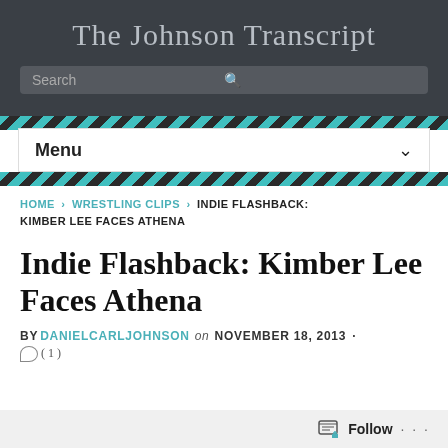The Johnson Transcript
Search
Menu
HOME › WRESTLING CLIPS › INDIE FLASHBACK: KIMBER LEE FACES ATHENA
Indie Flashback: Kimber Lee Faces Athena
BY DANIELCARLJOHNSON on NOVEMBER 18, 2013 · (1)